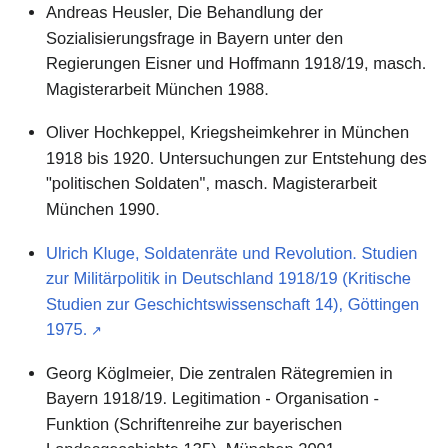Andreas Heusler, Die Behandlung der Sozialisierungsfrage in Bayern unter den Regierungen Eisner und Hoffmann 1918/19, masch. Magisterarbeit München 1988.
Oliver Hochkeppel, Kriegsheimkehrer in München 1918 bis 1920. Untersuchungen zur Entstehung des "politischen Soldaten", masch. Magisterarbeit München 1990.
Ulrich Kluge, Soldatenräte und Revolution. Studien zur Militärpolitik in Deutschland 1918/19 (Kritische Studien zur Geschichtswissenschaft 14), Göttingen 1975. [external link]
Georg Köglmeier, Die zentralen Rätegremien in Bayern 1918/19. Legitimation - Organisation - Funktion (Schriftenreihe zur bayerischen Landesgeschichte 135), München 2001.
Henning Köhler, Novemberrevolution und